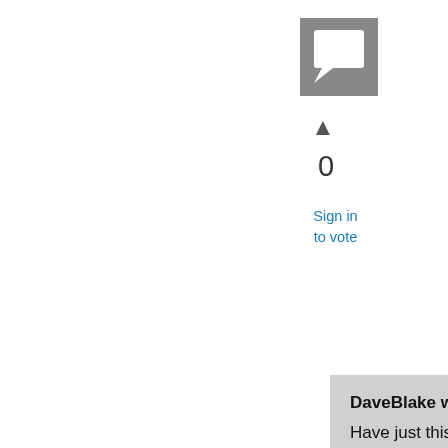[Figure (other): Gray square icon with a speech bubble / comment marker symbol]
▲
0
Sign in to vote
DaveBlake wrote:
Have just this moment finished downloading the new OneNote 2007 trial file. Ran through the installation and as usually it asked for my product key. Tried applying the 60 day version and it accepted it showing me a box for an 8 digit number which can apparent be found on the product packaging - yea right - this was a download! You just couldn't make this up, could you! So, stuck at this point I tried my full version product